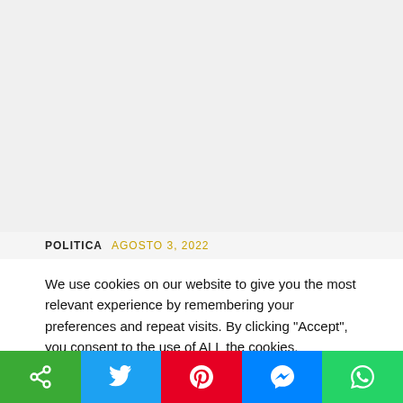[Figure (other): Large blank/grey image placeholder area at the top of the page]
POLITICA   AGOSTO 3, 2022
We use cookies on our website to give you the most relevant experience by remembering your preferences and repeat visits. By clicking “Accept”, you consent to the use of ALL the cookies.
Do not sell my personal information.
[Figure (screenshot): Cookie settings and Accept button row, partially visible]
[Figure (infographic): Social share bar with share, Twitter, Pinterest, Messenger, and WhatsApp buttons]